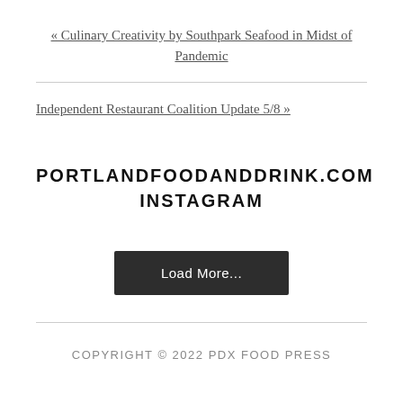« Culinary Creativity by Southpark Seafood in Midst of Pandemic
Independent Restaurant Coalition Update 5/8 »
PORTLANDFOODANDDRINK.COM INSTAGRAM
Load More...
COPYRIGHT © 2022 PDX FOOD PRESS